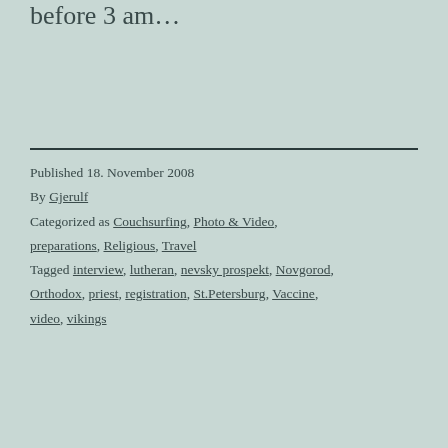before 3 am…
Published 18. November 2008
By Gjerulf
Categorized as Couchsurfing, Photo & Video, preparations, Religious, Travel
Tagged interview, lutheran, nevsky prospekt, Novgorod, Orthodox, priest, registration, St.Petersburg, Vaccine, video, vikings